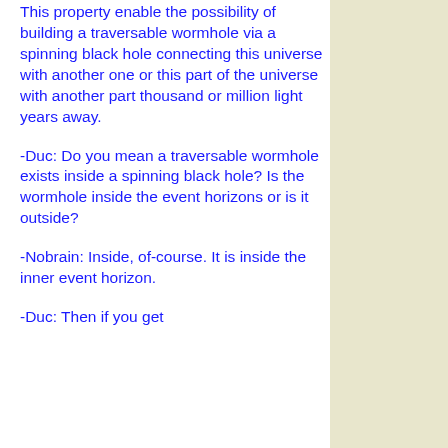This property enable the possibility of building a traversable wormhole via a spinning black hole connecting this universe with another one or this part of the universe with another part thousand or million light years away.
-Duc: Do you mean a traversable wormhole exists inside a spinning black hole? Is the wormhole inside the event horizons or is it outside?
-Nobrain: Inside, of-course. It is inside the inner event horizon.
-Duc: Then if you get